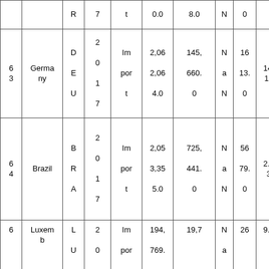|  |  | R | 7 | t | 0.0 | 8.0 | N | 0 |  |
| 6
3 | Germany | D
E
U | 2
0
1
7 | Im
por
t | 2,06
2,06
4.0 | 145,
660.
0 | N
a
N | 16
13.
0 | 14.
16 |
| 6
4 | Brazil | B
R
A | 2
0
1
7 | Im
por
t | 2,05
3,35
5.0 | 725,
441.
0 | N
a
N | 56
79.
0 | 2.8
3 |
| 6 | Luxem
b... | L
U | 2
0 | Im
por | 194,
769. | 19,7 | N
a | 26 | 9.8 |